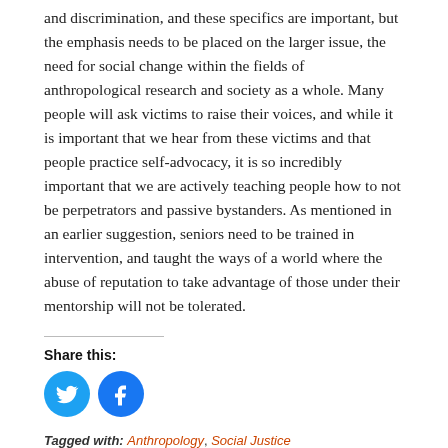and discrimination, and these specifics are important, but the emphasis needs to be placed on the larger issue, the need for social change within the fields of anthropological research and society as a whole. Many people will ask victims to raise their voices, and while it is important that we hear from these victims and that people practice self-advocacy, it is so incredibly important that we are actively teaching people how to not be perpetrators and passive bystanders. As mentioned in an earlier suggestion, seniors need to be trained in intervention, and taught the ways of a world where the abuse of reputation to take advantage of those under their mentorship will not be tolerated.
Share this:
[Figure (illustration): Twitter and Facebook social sharing icons — two circular blue buttons with white bird (Twitter) and white 'f' (Facebook) logos]
Tagged with: Anthropology, Social Justice